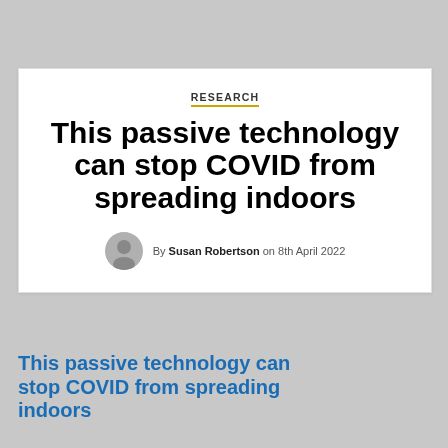RESEARCH
This passive technology can stop COVID from spreading indoors
By Susan Robertson on 8th April 2022
This passive technology can stop COVID from spreading indoors